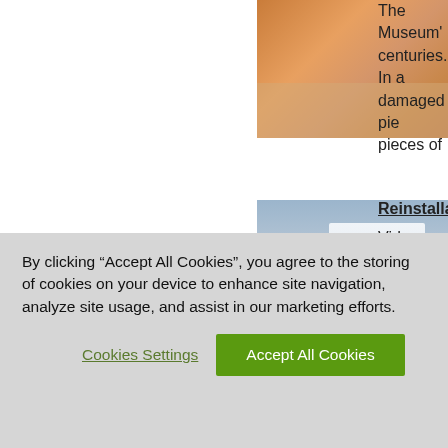[Figure (photo): Hands working on an object on a table, conservation work]
The Museum' centuries. In a damaged pie pieces of
[Figure (photo): Person examining or dressing a white garment/mannequin]
Reinstallation
Video
Watch as the the Crossroad
[Figure (photo): Glass or ceramic vessel/urn objects, decorative pieces]
60 Years- Sur
Video
Curators occa
By clicking “Accept All Cookies”, you agree to the storing of cookies on your device to enhance site navigation, analyze site usage, and assist in our marketing efforts.
Cookies Settings
Accept All Cookies